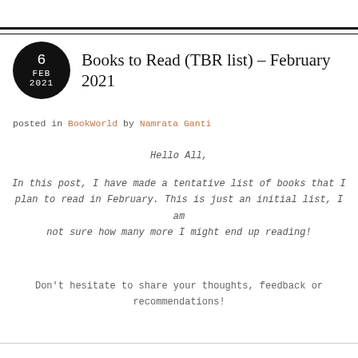Books to Read (TBR list) – February 2021
posted in BookWorld by Namrata Ganti
Hello All,
In this post, I have made a tentative list of books that I plan to read in February. This is just an initial list, I am not sure how many more I might end up reading!
Don't hesitate to share your thoughts, feedback or recommendations!